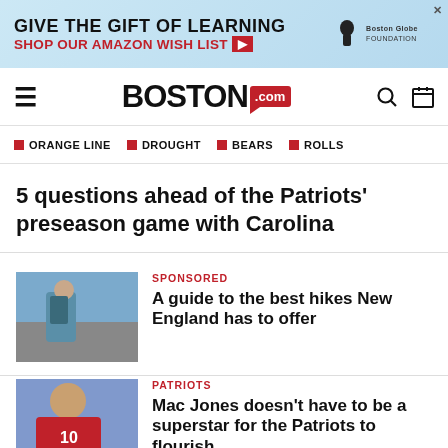[Figure (infographic): Advertisement banner: GIVE THE GIFT OF LEARNING / SHOP OUR AMAZON WISH LIST with arrow, Boston Globe Foundation logo]
BOSTON.com — navigation bar with hamburger menu, Boston.com logo, search and calendar icons
ORANGE LINE
DROUGHT
BEARS
ROLLS
5 questions ahead of the Patriots' preseason game with Carolina
SPONSORED
A guide to the best hikes New England has to offer
PATRIOTS
Mac Jones doesn't have to be a superstar for the Patriots to flourish